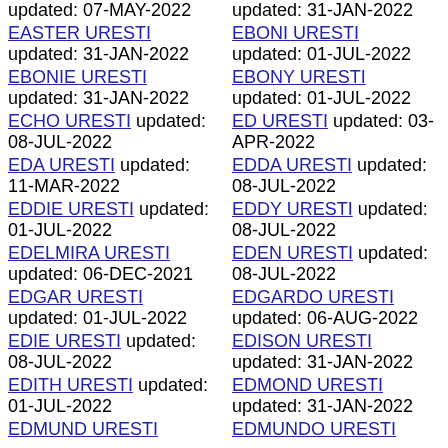updated: 07-MAY-2022
EASTER URESTI updated: 31-JAN-2022
EBONIE URESTI updated: 31-JAN-2022
ECHO URESTI updated: 08-JUL-2022
EDA URESTI updated: 11-MAR-2022
EDDIE URESTI updated: 01-JUL-2022
EDELMIRA URESTI updated: 06-DEC-2021
EDGAR URESTI updated: 01-JUL-2022
EDIE URESTI updated: 08-JUL-2022
EDITH URESTI updated: 01-JUL-2022
EDMUND URESTI
updated: 31-JAN-2022
EBONI URESTI updated: 01-JUL-2022
EBONY URESTI updated: 01-JUL-2022
ED URESTI updated: 03-APR-2022
EDDA URESTI updated: 08-JUL-2022
EDDY URESTI updated: 08-JUL-2022
EDEN URESTI updated: 08-JUL-2022
EDGARDO URESTI updated: 06-AUG-2022
EDISON URESTI updated: 31-JAN-2022
EDMOND URESTI updated: 31-JAN-2022
EDMUNDO URESTI